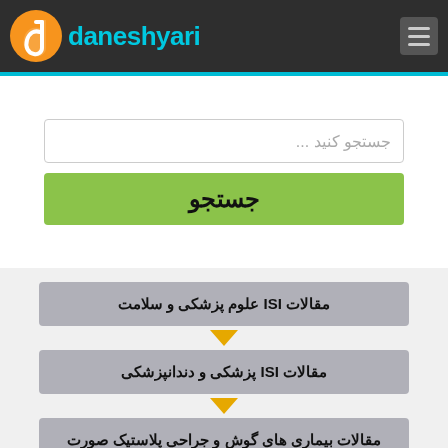[Figure (logo): Daneshyari logo with orange stylized 'd' icon and cyan text 'daneshyari' on dark header background]
جستجو کنید ...
جستجو
مقالات ISI علوم پزشکی و سلامت
مقالات ISI پزشکی و دندانپزشکی
مقالات بیماری های گوش و جراحی پلاستیک صورت